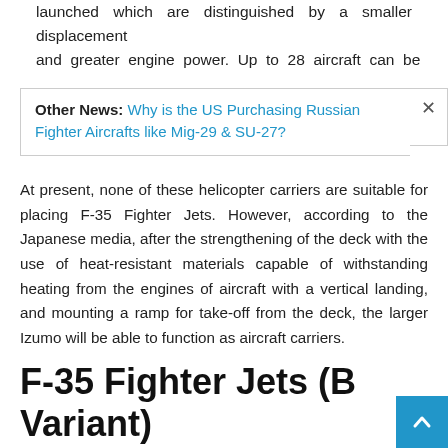launched which are distinguished by a smaller displacement and greater engine power. Up to 28 aircraft can be
Other News: Why is the US Purchasing Russian Fighter Aircrafts like Mig-29 & SU-27?
At present, none of these helicopter carriers are suitable for placing F-35 Fighter Jets. However, according to the Japanese media, after the strengthening of the deck with the use of heat-resistant materials capable of withstanding heating from the engines of aircraft with a vertical landing, and mounting a ramp for take-off from the deck, the larger Izumo will be able to function as aircraft carriers.
F-35 Fighter Jets (B Variant)